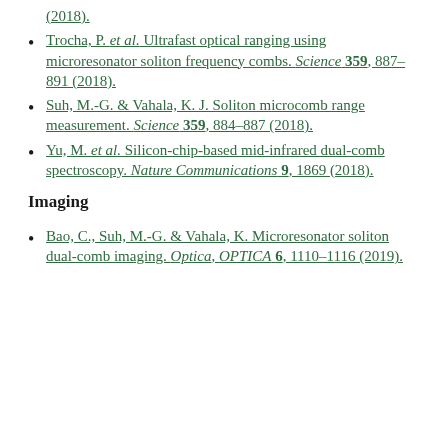(2018).
Trocha, P. et al. Ultrafast optical ranging using microresonator soliton frequency combs. Science 359, 887–891 (2018).
Suh, M.-G. & Vahala, K. J. Soliton microcomb range measurement. Science 359, 884–887 (2018).
Yu, M. et al. Silicon-chip-based mid-infrared dual-comb spectroscopy. Nature Communications 9, 1869 (2018).
Imaging
Bao, C., Suh, M.-G. & Vahala, K. Microresonator soliton dual-comb imaging. Optica, OPTICA 6, 1110–1116 (2019).